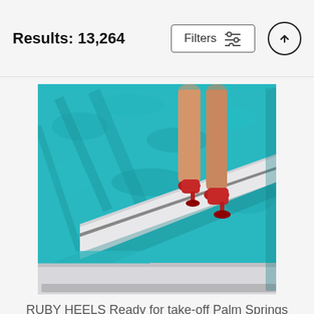Results: 13,264
[Figure (photo): Woman's legs in red high heels standing on a white diving board over a turquoise swimming pool, viewed from behind/side. The image is displayed as a canvas print with wrapped edges.]
RUBY HEELS Ready for take-off Palm Springs Acrylic Print
William Dey
$111
[Figure (photo): Partial view of a second artwork at the bottom of the page showing warm orange/brown clouds or landscape at dusk.]